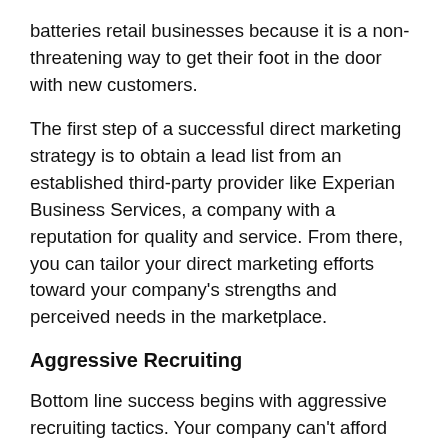batteries retail businesses because it is a non-threatening way to get their foot in the door with new customers.
The first step of a successful direct marketing strategy is to obtain a lead list from an established third-party provider like Experian Business Services, a company with a reputation for quality and service. From there, you can tailor your direct marketing efforts toward your company's strengths and perceived needs in the marketplace.
Aggressive Recruiting
Bottom line success begins with aggressive recruiting tactics. Your company can't afford